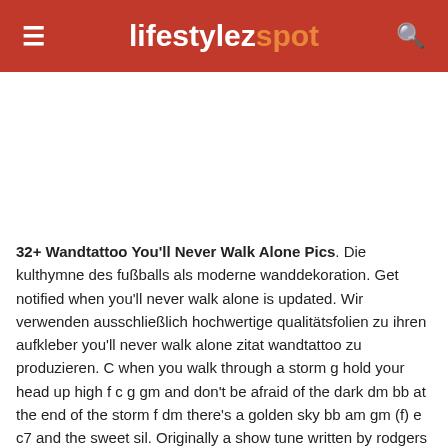lifestylezspot
32+ Wandtattoo You&#039;ll Never Walk Alone Pics. Die kulthymne des fußballs als moderne wanddekoration. Get notified when you'll never walk alone is updated. Wir verwenden ausschließlich hochwertige qualitätsfolien zu ihren aufkleber you'll never walk alone zitat wandtattoo zu produzieren. C when you walk through a storm g hold your head up high f c g gm and don't be afraid of the dark dm bb at the end of the storm f dm there's a golden sky bb am gm (f) e c7 and the sweet sil. Originally a show tune written by rodgers and hammerstein for the musical carousel, it